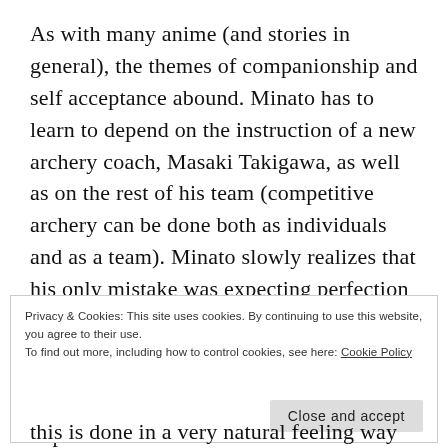As with many anime (and stories in general), the themes of companionship and self acceptance abound. Minato has to learn to depend on the instruction of a new archery coach, Masaki Takigawa, as well as on the rest of his team (competitive archery can be done both as individuals and as a team). Minato slowly realizes that his only mistake was expecting perfection from himself.
The pacing for this one is a slow burn, and there is a surprising amount of content to unpack for a show
Privacy & Cookies: This site uses cookies. By continuing to use this website, you agree to their use.
To find out more, including how to control cookies, see here: Cookie Policy
Close and accept
this is done in a very natural feeling way and by the